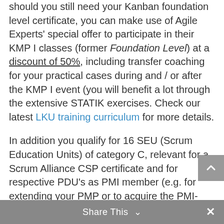should you still need your Kanban foundation level certificate, you can make use of Agile Experts' special offer to participate in their KMP I classes (former Foundation Level) at a discount of 50%, including transfer coaching for your practical cases during and / or after the KMP I event (you will benefit a lot through the extensive STATIK exercises. Check our latest LKU training curriculum for more details.
In addition you qualify for 16 SEU (Scrum Education Units) of category C, relevant for a Scrum Alliance CSP certificate and for respective PDU's as PMI member (e.g. for extending your PMP or to acquire the PMI-ACP certificate).
Share This ∨  ×